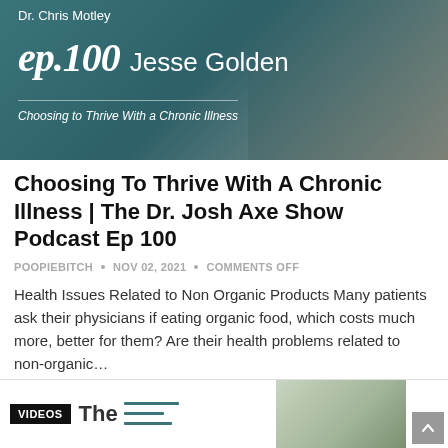[Figure (photo): Podcast thumbnail image for Dr. Chris Motley episode 100 with Jesse Golden, teal/dark green background with text overlaid, person visible on right side]
Choosing To Thrive With A Chronic Illness | The Dr. Josh Axe Show Podcast Ep 100
POOPIEBITCH • NOV 02, 2021 • COMMENTS OFF
Health Issues Related to Non Organic Products Many patients ask their physicians if eating organic food, which costs much more, better for them? Are their health problems related to non-organic…
CONTINUE READING »
[Figure (screenshot): Bottom strip showing VIDEOS badge and partial podcast thumbnail with elderly man photo on right and scroll-to-top button]